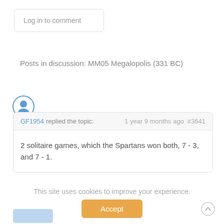Log in to comment
Posts in discussion: MM05 Megalopolis (331 BC)
[Figure (illustration): User avatar icon: a circle with a person silhouette inside, blue outline]
GF1954 replied the topic:   1 year 9 months ago  #3641
2 solitaire games, which the Spartans won both, 7 - 3, and 7 - 1.
This site uses cookies to improve your experience.
Accept